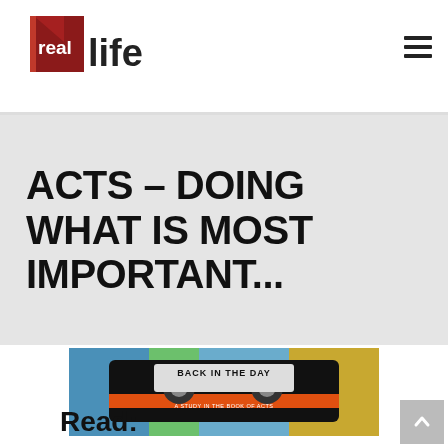[Figure (logo): Real Life church logo — red geometric bracket/building shape with 'real' in white lowercase on red background, followed by 'life' in bold dark text]
ACTS – DOING WHAT IS MOST IMPORTANT...
[Figure (photo): Cassette tape with graffiti background. Text on cassette reads 'BACK IN THE DAY' and 'A STUDY IN THE BOOK OF ACTS']
Read: